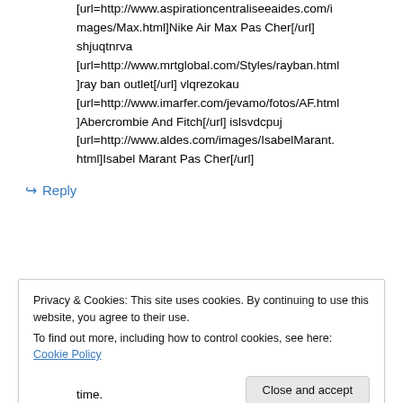[url=http://www.aspirationcentraliseeaides.com/images/Max.html]Nike Air Max Pas Cher[/url] shjuqtnrva [url=http://www.mrtglobal.com/Styles/rayban.html]ray ban outlet[/url] vlqrezokau [url=http://www.imarfer.com/jevamo/fotos/AF.html]Abercrombie And Fitch[/url] islsvdcpuj [url=http://www.aldes.com/images/IsabelMarant.html]Isabel Marant Pas Cher[/url]
↪ Reply
Privacy & Cookies: This site uses cookies. By continuing to use this website, you agree to their use. To find out more, including how to control cookies, see here: Cookie Policy
Close and accept
time.